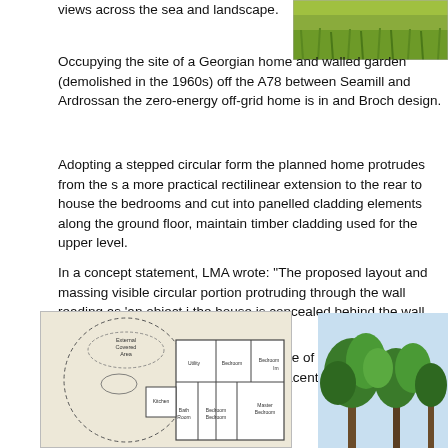[Figure (photo): Green grass/landscape photo in top right corner]
views across the sea and landscape.
Occupying the site of a Georgian home and walled garden (demolished in the 1960s) off the A78 between Seamill and Ardrossan the zero-energy off-grid home is in and Broch design.
Adopting a stepped circular form the planned home protrudes from the s a more practical rectilinear extension to the rear to house the bedrooms and cut into panelled cladding elements along the ground floor, maintain timber cladding used for the upper level.
In a concept statement, LMA wrote: "The proposed layout and massing visible circular portion protruding through the wall reading as 'an object i the house is concealed behind the wall.
"The location and architectural language of the proposed scheme are si association with the adjacent plot, avoiding any risk of the dwelling read
An outbuilding dedicated to the production of self-grown food is also pla adopting a similar appearance to the rear of the main home and standin
[Figure (engineering-diagram): Floor plan/architectural plan drawing of the circular and rectilinear home showing rooms including Kitchen, Utility, Bedroom, Master Bedroom, Bath, and External Covered Area]
[Figure (photo): Photo of trees against a blue sky, bottom right corner]